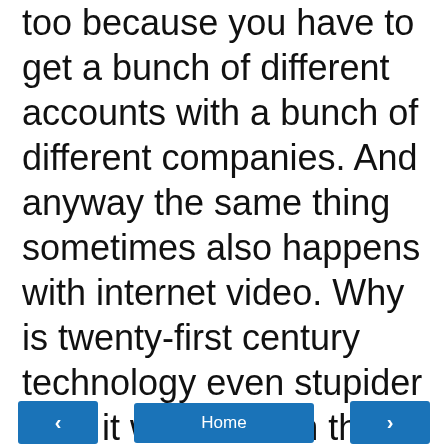too because you have to get a bunch of different accounts with a bunch of different companies. And anyway the same thing sometimes also happens with internet video. Why is twenty-first century technology even stupider than it was back in the twentieth?
Allen Pogue at 10:15 AM
Share
No comments:
Post a Comment
< Home >